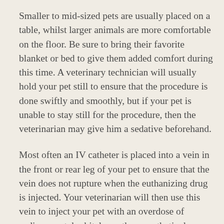Smaller to mid-sized pets are usually placed on a table, whilst larger animals are more comfortable on the floor. Be sure to bring their favorite blanket or bed to give them added comfort during this time. A veterinary technician will usually hold your pet still to ensure that the procedure is done swiftly and smoothly, but if your pet is unable to stay still for the procedure, then the veterinarian may give him a sedative beforehand.
Most often an IV catheter is placed into a vein in the front or rear leg of your pet to ensure that the vein does not rupture when the euthanizing drug is injected. Your veterinarian will then use this vein to inject your pet with an overdose of sodium pentobarbital, or other anesthetic drugs, which will